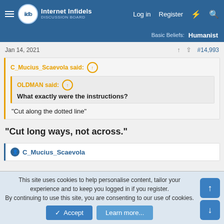Internet Infidels — Log in  Register
Basic Beliefs:  Humanist
Jan 14, 2021  #14,993
C_Mucius_Scaevola said:
OLDMAN said:
What exactly were the instructions?
"Cut along the dotted line"
"Cut long ways, not across."
C_Mucius_Scaevola
This site uses cookies to help personalise content, tailor your experience and to keep you logged in if you register.
By continuing to use this site, you are consenting to our use of cookies.